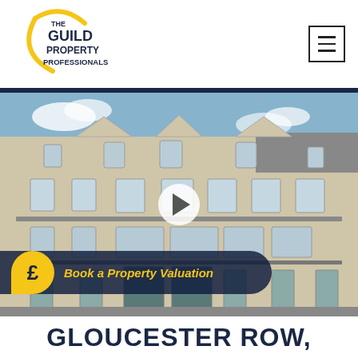[Figure (logo): The Guild Property Professionals logo — circular gold arc on left, dark navy bold text reading THE GUILD PROPERTY PROFESSIONALS]
[Figure (photo): Exterior photograph of a Georgian/Regency stone terrace building (Gloucester Row), multiple storeys with sash windows and ornate pediments, blue sky, with a play button overlay indicating a video. A yellow speech-bubble pound-sign icon and dark navy banner reading 'Book a Property Valuation' overlay the bottom portion.]
GLOUCESTER ROW,